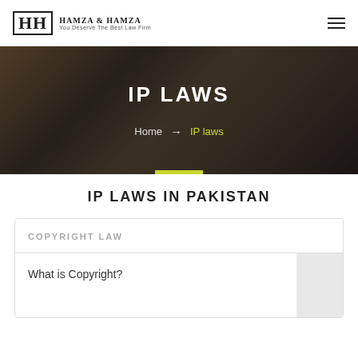HH HAMZA & HAMZA You Deserve The Best Law Firm
IP LAWS
Home → IP laws
IP LAWS IN PAKISTAN
COPYRIGHT LAW
What is Copyright?